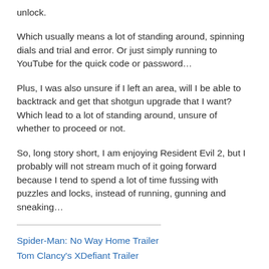unlock.
Which usually means a lot of standing around, spinning dials and trial and error. Or just simply running to YouTube for the quick code or password…
Plus, I was also unsure if I left an area, will I be able to backtrack and get that shotgun upgrade that I want? Which lead to a lot of standing around, unsure of whether to proceed or not.
So, long story short, I am enjoying Resident Evil 2, but I probably will not stream much of it going forward because I tend to spend a lot of time fussing with puzzles and locks, instead of running, gunning and sneaking…
Spider-Man: No Way Home Trailer
Tom Clancy's XDefiant Trailer